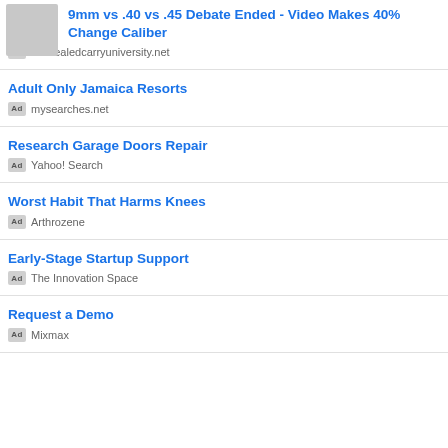9mm vs .40 vs .45 Debate Ended - Video Makes 40% Change Caliber
Ad concealedcarryuniversity.net
Adult Only Jamaica Resorts
Ad mysearches.net
Research Garage Doors Repair
Ad Yahoo! Search
Worst Habit That Harms Knees
Ad Arthrozene
Early-Stage Startup Support
Ad The Innovation Space
Request a Demo
Ad Mixmax